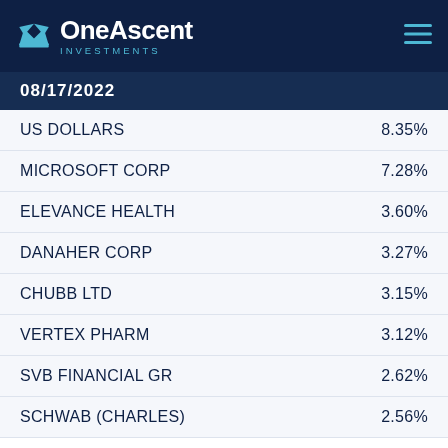OneAscent Investments
08/17/2022
| Holding | Percentage |
| --- | --- |
| US DOLLARS | 8.35% |
| MICROSOFT CORP | 7.28% |
| ELEVANCE HEALTH | 3.60% |
| DANAHER CORP | 3.27% |
| CHUBB LTD | 3.15% |
| VERTEX PHARM | 3.12% |
| SVB FINANCIAL GR | 2.62% |
| SCHWAB (CHARLES) | 2.56% |